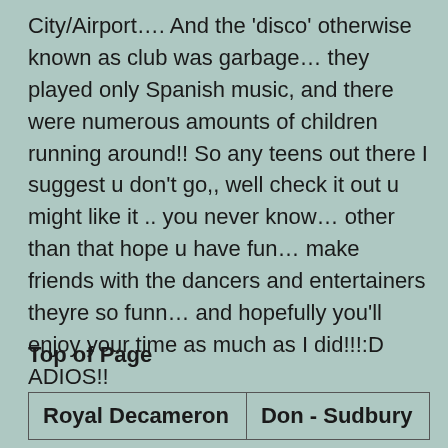City/Airport…. And the 'disco' otherwise known as club was garbage… they played only Spanish music, and there were numerous amounts of children running around!! So any teens out there I suggest u don't go,, well check it out u might like it .. you never know… other than that hope u have fun… make friends with the dancers and entertainers theyre so funn… and hopefully you'll enjoy your time as much as I did!!!:D ADIOS!!
Top of Page
| Royal Decameron | Don - Sudbury |
| --- | --- |